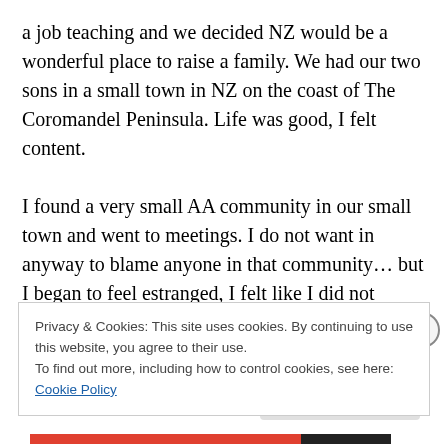a job teaching and we decided NZ would be a wonderful place to raise a family. We had our two sons in a small town in NZ on the coast of The Coromandel Peninsula. Life was good, I felt content.

I found a very small AA community in our small town and went to meetings. I do not want in anyway to blame anyone in that community… but I began to feel estranged, I felt like I did not belong. It was so different from my women's meeting in Tucson. It was mostly old men in the rooms, and most of them did not want to talk about
Privacy & Cookies: This site uses cookies. By continuing to use this website, you agree to their use.
To find out more, including how to control cookies, see here: Cookie Policy